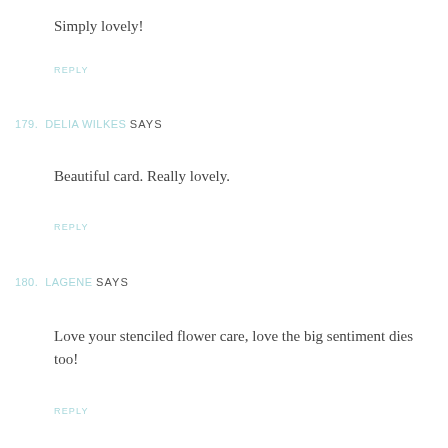Simply lovely!
REPLY
179. DELIA WILKES SAYS
Beautiful card. Really lovely.
REPLY
180. LAGENE SAYS
Love your stenciled flower care, love the big sentiment dies too!
REPLY